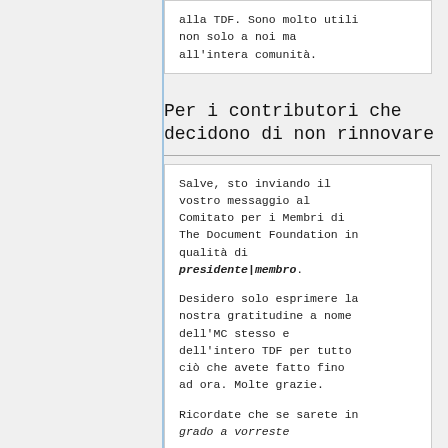alla TDF. Sono molto utili non solo a noi ma all'intera comunità.
Per i contributori che decidono di non rinnovare
Salve, sto inviando il vostro messaggio al Comitato per i Membri di The Document Foundation in qualità di presidente|membro.

Desidero solo esprimere la nostra gratitudine a nome dell'MC stesso e dell'intero TDF per tutto ciò che avete fatto fino ad ora. Molte grazie.

Ricordate che se sarete in grado a vorreste...